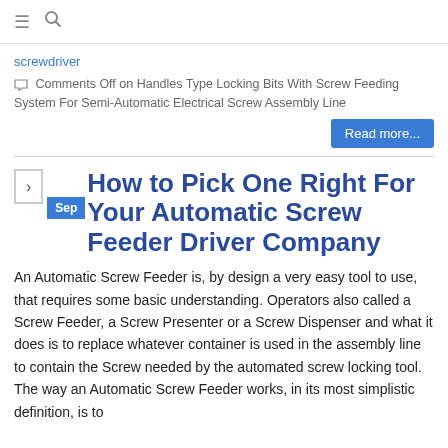≡ 🔍
screwdriver
Comments Off on Handles Type Locking Bits With Screw Feeding System For Semi-Automatic Electrical Screw Assembly Line
Read more...
How to Pick One Right For Your Automatic Screw Feeder Driver Company
An Automatic Screw Feeder is, by design a very easy tool to use, that requires some basic understanding. Operators also called a Screw Feeder, a Screw Presenter or a Screw Dispenser and what it does is to replace whatever container is used in the assembly line to contain the Screw needed by the automated screw locking tool. The way an Automatic Screw Feeder works, in its most simplistic definition, is to